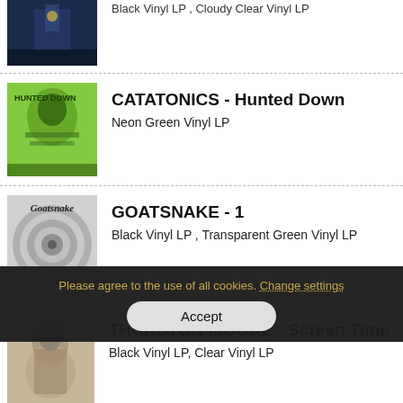[Figure (photo): Partial view of album cover (dark blue/night scene) at top of page, cropped]
Black Vinyl LP , Cloudy Clear Vinyl LP
[Figure (photo): CATATONICS - Hunted Down album cover, neon green with screaming face]
CATATONICS - Hunted Down
Neon Green Vinyl LP
[Figure (photo): GOATSNAKE - 1 album cover, grey/black swirl design with Goatsnake text]
GOATSNAKE - 1
Black Vinyl LP , Transparent Green Vinyl LP
[Figure (photo): THURSTON MOORE - Screen Time album cover, stone sculpture figure]
THURSTON MOORE - Screen Time
Black Vinyl LP, Clear Vinyl LP
Please agree to the use of all cookies. Change settings
Accept
[Figure (photo): ANNA VON HAUSSWOLFF - Live at ... album cover, partial view, black and white]
ANNA VON HAUSSWOLFF - Live at